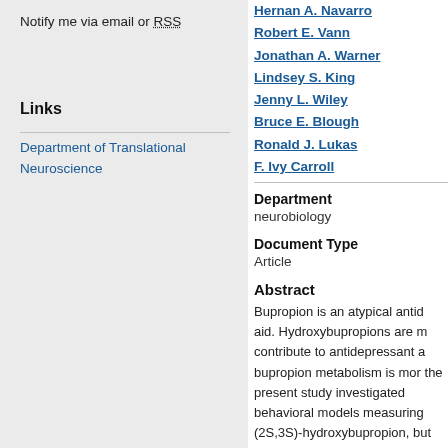Notify me via email or RSS
Links
Department of Translational Neuroscience
Hernan A. Navarro
Robert E. Vann
Jonathan A. Warner
Lindsey S. King
Jenny L. Wiley
Bruce E. Blough
Ronald J. Lukas
F. Ivy Carroll
Department
neurobiology
Document Type
Article
Abstract
Bupropion is an atypical antid aid. Hydroxybupropions are m contribute to antidepressant a bupropion metabolism is mor the present study investigated behavioral models measuring (2S,3S)-hydroxybupropion, but the development of nicotine re and withdrawal paradigm in